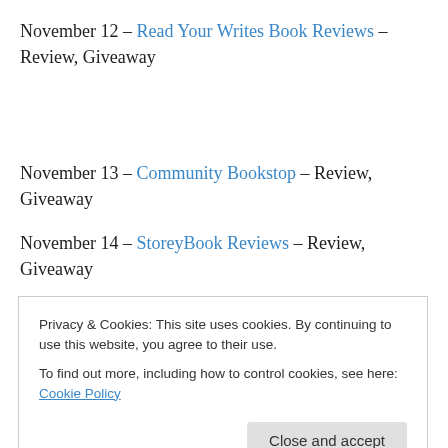November 12 – Read Your Writes Book Reviews – Review, Giveaway
November 13 – Community Bookstop – Review, Giveaway
November 14 – StoreyBook Reviews – Review, Giveaway
November 15 – Mochas, Mysteries and More – Review, Giveaway
Privacy & Cookies: This site uses cookies. By continuing to use this website, you agree to their use. To find out more, including how to control cookies, see here: Cookie Policy